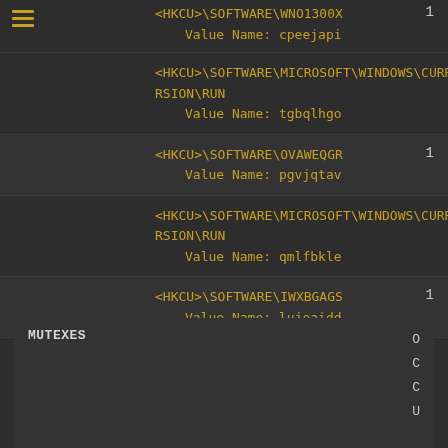<HKCU>\SOFTWARE\WNO1300X
  Value Name: cpeejapi
1
<HKCU>\SOFTWARE\MICROSOFT\WINDOWS\CURRENTVERSION\RUN
  Value Name: tgbqlhgo
1
<HKCU>\SOFTWARE\OVAWEQGR
  Value Name: pgvjqtav
1
<HKCU>\SOFTWARE\MICROSOFT\WINDOWS\CURRENTVERSION\RUN
  Value Name: qmlfbkle
1
<HKCU>\SOFTWARE\IWXBGAGS
  Value Name: lujoaidd
1
MUTEXES
O
C
C
U